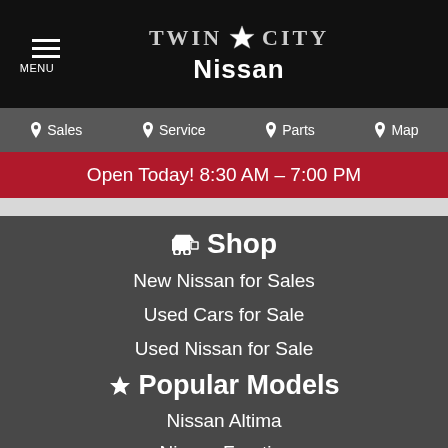Twin City Nissan
Sales  Service  Parts  Map
Open Today! 8:30 AM – 7:00 PM
Shop
New Nissan for Sales
Used Cars for Sale
Used Nissan for Sale
Popular Models
Nissan Altima
Nissan Frontier